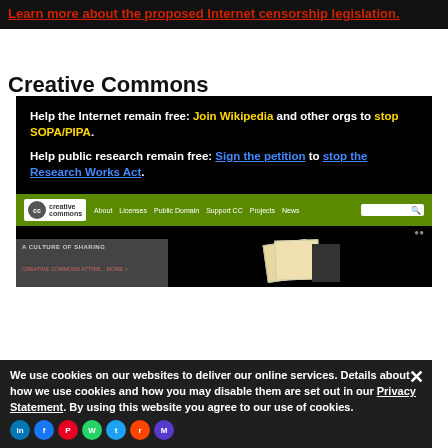[Figure (screenshot): Top banner with dark background showing a red underlined link: 'Learn more about the proposed Internet censorship legislation']
Creative Commons
[Figure (screenshot): Screenshot of Creative Commons website with SOPA/PIPA protest banner. Black top section with text: 'Help the Internet remain free: Join Wikipedia and other orgs to stop SOPA/PIPA.' and 'Help public research remain free: Sign the petition to stop the Research Works Act.' Below is green navigation bar with Creative Commons logo, nav links (About, Licenses, Public Domain, Support CC, Projects, News) and search box. Below that is a dark section with 'A CULTURE OF SHARING' heading and book imagery.]
We use cookies on our websites to deliver our online services. Details about how we use cookies and how you may disable them are set out in our Privacy Statement. By using this website you agree to our use of cookies.